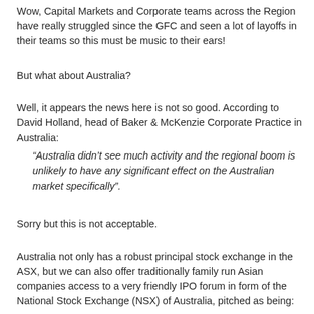Wow, Capital Markets and Corporate teams across the Region have really struggled since the GFC and seen a lot of layoffs in their teams so this must be music to their ears!
But what about Australia?
Well, it appears the news here is not so good. According to David Holland, head of Baker & McKenzie Corporate Practice in Australia:
“Australia didn’t see much activity and the regional boom is unlikely to have any significant effect on the Australian market specifically”.
Sorry but this is not acceptable.
Australia not only has a robust principal stock exchange in the ASX, but we can also offer traditionally family run Asian companies access to a very friendly IPO forum in form of the National Stock Exchange (NSX) of Australia, pitched as being: